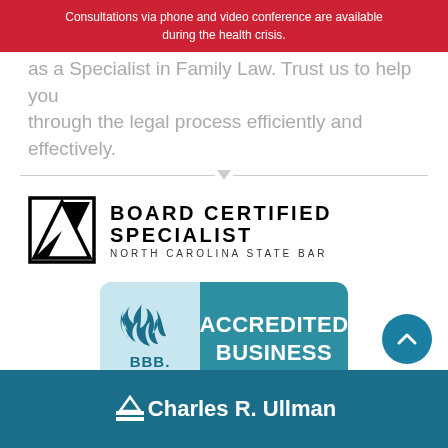Consultations via phone and video conference are available during the health crisis.
as a Specialist in Family Law. Trust us to help you through the legal process efficiently and effectively.
[Figure (logo): Board Certified Specialist North Carolina State Bar logo with triangle symbol]
[Figure (logo): BBB Accredited Business badge with blue background and flame logo]
[Figure (logo): Charles R. Ullman law firm footer logo and name]